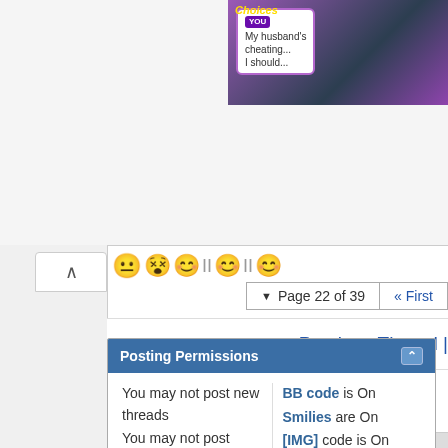[Figure (screenshot): Advertisement banner showing a mobile game with a speech bubble saying 'My husband's cheating... I should...' with a YOU tag, featuring illustrated female characters]
[Figure (other): Emoji/smiley face icons row in a forum post area]
Page 22 of 39
First
« Previous Thread |
Posting Permissions
You may not post new threads
You may not post replies
You may not post
BB code is On
Smilies are On
[IMG] code is On
[VIDEO] code is On